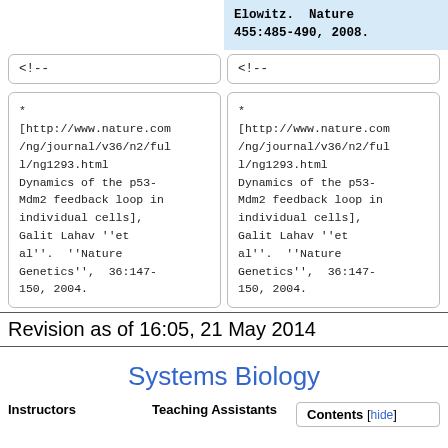Elowitz.  Nature 455:485-490, 2008.
<!--
<!--
* [http://www.nature.com/ng/journal/v36/n2/full/ng1293.html Dynamics of the p53-Mdm2 feedback loop in individual cells], Galit Lahav ''et al''.  ''Nature Genetics'',  36:147-150, 2004.
* [http://www.nature.com/ng/journal/v36/n2/full/ng1293.html Dynamics of the p53-Mdm2 feedback loop in individual cells], Galit Lahav ''et al''.  ''Nature Genetics'',  36:147-150, 2004.
Revision as of 16:05, 21 May 2014
Systems Biology
Instructors
Teaching Assistants
Contents [hide]